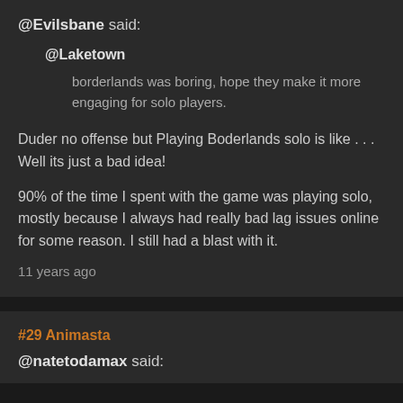@Evilsbane said:
@Laketown
borderlands was boring, hope they make it more engaging for solo players.
Duder no offense but Playing Boderlands solo is like . . . Well its just a bad idea!
90% of the time I spent with the game was playing solo, mostly because I always had really bad lag issues online for some reason. I still had a blast with it.
11 years ago
#29 Animasta
@natetodamax said: